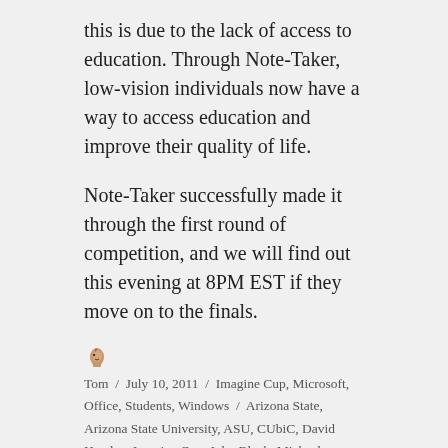this is due to the lack of access to education. Through Note-Taker, low-vision individuals now have a way to access education and improve their quality of life.
Note-Taker successfully made it through the first round of competition, and we will find out this evening at 8PM EST if they move on to the finals.
Tom / July 10, 2011 / Imagine Cup, Microsoft, Office, Students, Windows / Arizona State, Arizona State University, ASU, CUbiC, David Hayden, Imagine Cup, John Black, Michael Astrauskas, Microsoft, MSPSMT, New York City, OneNote, Qian Yan, Shashank Srinivas, Students, Team Note-Taker / 7 Comments